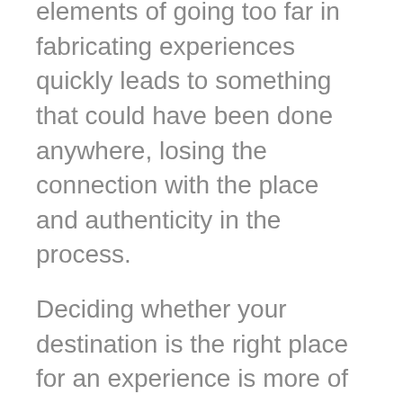elements of going too far in fabricating experiences quickly leads to something that could have been done anywhere, losing the connection with the place and authenticity in the process.
Deciding whether your destination is the right place for an experience is more of an art than a science. It's about embracing and showcasing what is there, bringing to life those special connections between activities, the natural environment and the local culture. It's also a matter of alignment. We don't need to do an extensive inventory of all the